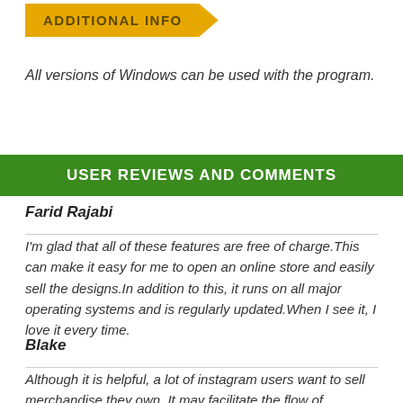ADDITIONAL INFO
All versions of Windows can be used with the program.
USER REVIEWS AND COMMENTS
Farid Rajabi
I'm glad that all of these features are free of charge.This can make it easy for me to open an online store and easily sell the designs.In addition to this, it runs on all major operating systems and is regularly updated.When I see it, I love it every time.
Blake
Although it is helpful, a lot of instagram users want to sell merchandise they own. It may facilitate the flow of creativity and may help boost sales, since the program looks simple to use. It may be possible to produce